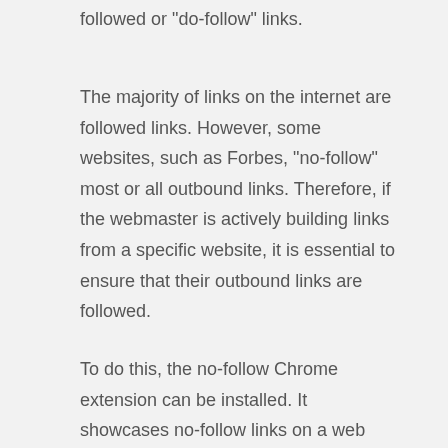followed or "do-follow" links.
The majority of links on the internet are followed links. However, some websites, such as Forbes, "no-follow" most or all outbound links. Therefore, if the webmaster is actively building links from a specific website, it is essential to ensure that their outbound links are followed.
To do this, the no-follow Chrome extension can be installed. It showcases no-follow links on a web